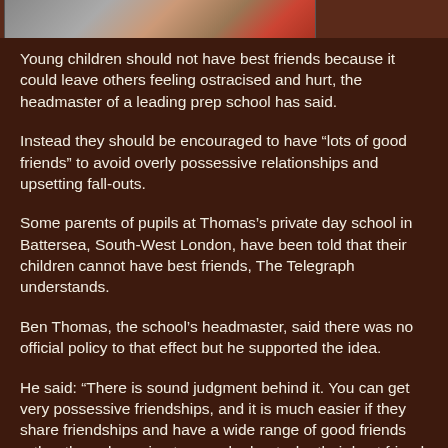[Figure (photo): Partial cropped photo of children, visible at the top of the page]
Young children should not have best friends because it could leave others feeling ostracised and hurt, the headmaster of a leading prep school has said.
Instead they should be encouraged to have “lots of good friends” to avoid overly possessive relationships and upsetting fall-outs.
Some parents of pupils at Thomas’s private day school in Battersea, South-West London, have been told that their children cannot have best friends, The Telegraph understands.
Ben Thomas, the school’s headmaster, said there was no official policy to that effect but he supported the idea.
He said: “There is sound judgment behind it. You can get very possessive friendships, and it is much easier if they share friendships and have a wide range of good friends rather than obsessing too much about who their best friend